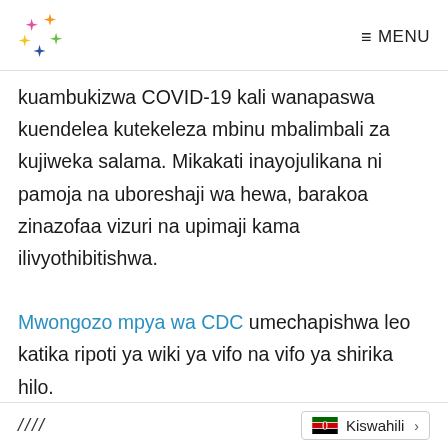MENU
kuambukizwa COVID-19 kali wanapaswa kuendelea kutekeleza mbinu mbalimbali za kujiweka salama. Mikakati inayojulikana ni pamoja na uboreshaji wa hewa, barakoa zinazofaa vizuri na upimaji kama ilivyothibitishwa.
Mwongozo mpya wa CDC umechapishwa leo katika ripoti ya wiki ya vifo na vifo ya shirika hilo.
//// Kiswahili